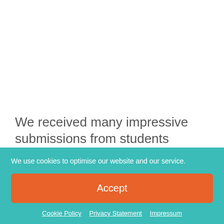We received many impressive submissions from students across all institutions and through a very difficult
We use cookies to optimise our website and our service.
Accept
Cookie Policy   Privacy Statement   Impressum